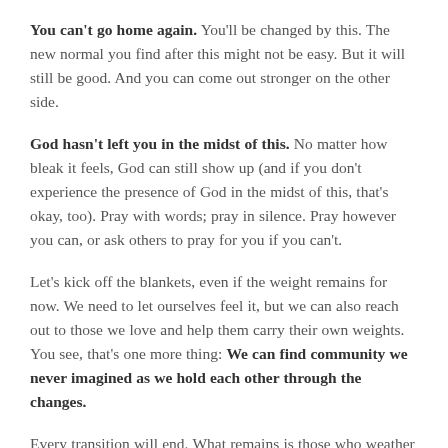You can't go home again. You'll be changed by this. The new normal you find after this might not be easy. But it will still be good. And you can come out stronger on the other side.
God hasn't left you in the midst of this. No matter how bleak it feels, God can still show up (and if you don't experience the presence of God in the midst of this, that's okay, too). Pray with words; pray in silence. Pray however you can, or ask others to pray for you if you can't.
Let's kick off the blankets, even if the weight remains for now. We need to let ourselves feel it, but we can also reach out to those we love and help them carry their own weights. You see, that's one more thing: We can find community we never imagined as we hold each other through the changes.
Every transition will end. What remains is those who weather the storm with you. So for today, as we're all in